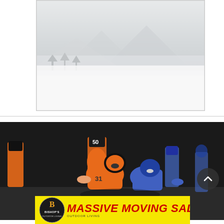[Figure (photo): Misty winter mountain landscape photo, mostly white/grey tones, trees visible in fog, displayed in a bordered rectangular frame]
[Figure (photo): Indoor arena football game photo: players in orange and black uniforms tackling a player in blue uniform, jersey #50 visible, stadium background]
[Figure (logo): Bishop's Outdoor Living advertisement banner with yellow background, Bishop's logo on left and red italic text reading MASSIVE MOVING SALE]